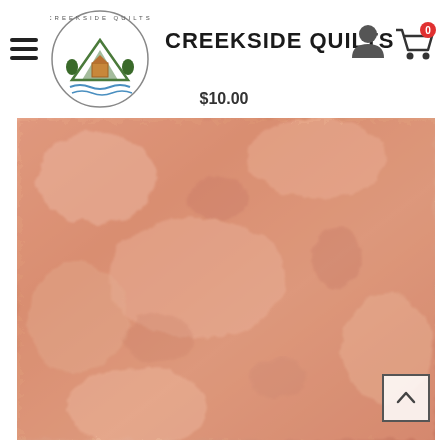CREEKSIDE QUILTS
$10.00
[Figure (photo): Close-up photograph of a peach/salmon colored textured quilt fabric with soft bumpy surface details and subtle pink/rose mottled tones.]